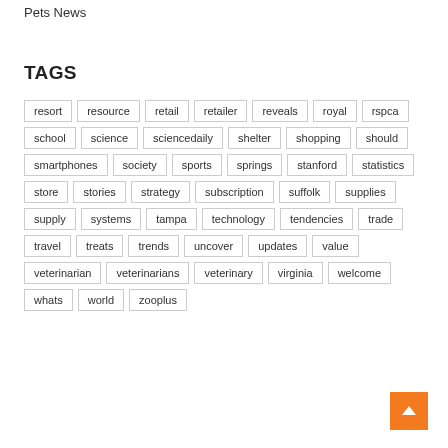Pets News
TAGS
resort
resource
retail
retailer
reveals
royal
rspca
school
science
sciencedaily
shelter
shopping
should
smartphones
society
sports
springs
stanford
statistics
store
stories
strategy
subscription
suffolk
supplies
supply
systems
tampa
technology
tendencies
trade
travel
treats
trends
uncover
updates
value
veterinarian
veterinarians
veterinary
virginia
welcome
whats
world
zooplus